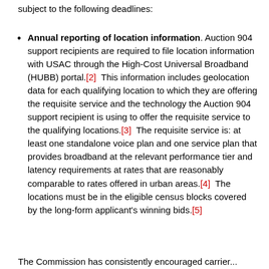subject to the following deadlines:
Annual reporting of location information. Auction 904 support recipients are required to file location information with USAC through the High-Cost Universal Broadband (HUBB) portal.[2]  This information includes geolocation data for each qualifying location to which they are offering the requisite service and the technology the Auction 904 support recipient is using to offer the requisite service to the qualifying locations.[3]  The requisite service is: at least one standalone voice plan and one service plan that provides broadband at the relevant performance tier and latency requirements at rates that are reasonably comparable to rates offered in urban areas.[4]  The locations must be in the eligible census blocks covered by the long-form applicant's winning bids.[5]
The Commission has consistently encouraged carrier...